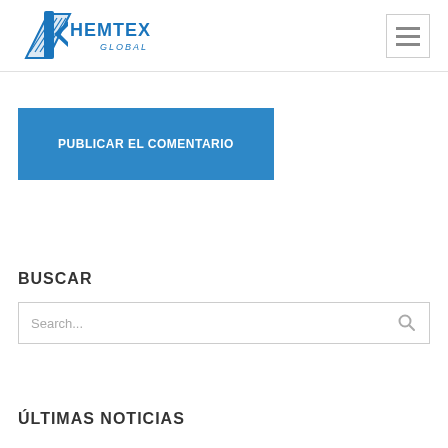[Figure (logo): Chemtex Global logo in blue with stylized G and bolt icon]
[Figure (other): Hamburger menu button with three horizontal lines]
PUBLICAR EL COMENTARIO
BUSCAR
Search...
ÚLTIMAS NOTICIAS